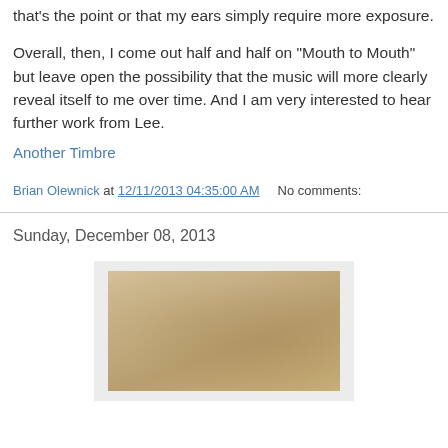that's the point or that my ears simply require more exposure.
Overall, then, I come out half and half on "Mouth to Mouth" but leave open the possibility that the music will more clearly reveal itself to me over time. And I am very interested to hear further work from Lee.
Another Timbre
Brian Olewnick at 12/11/2013 04:35:00 AM    No comments:
Sunday, December 08, 2013
[Figure (photo): A photograph of what appears to be an album cover or artwork with a beige/tan textured background.]